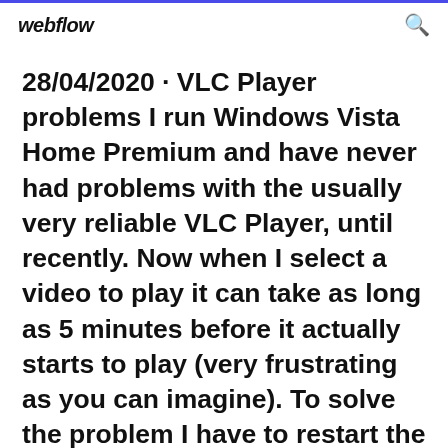webflow
28/04/2020 · VLC Player problems I run Windows Vista Home Premium and have never had problems with the usually very reliable VLC Player, until recently. Now when I select a video to play it can take as long as 5 minutes before it actually starts to play (very frustrating as you can imagine). To solve the problem I have to restart the computer. When I do so, the VLC